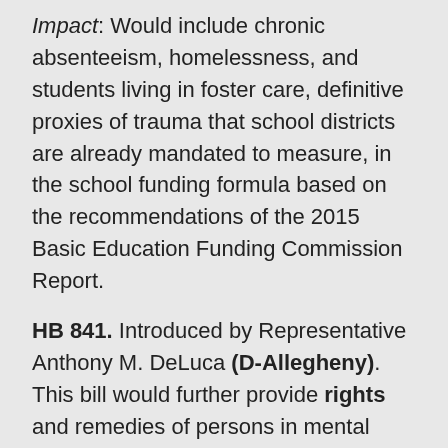Impact: Would include chronic absenteeism, homelessness, and students living in foster care, definitive proxies of trauma that school districts are already mandated to measure, in the school funding formula based on the recommendations of the 2015 Basic Education Funding Commission Report.
HB 841. Introduced by Representative Anthony M. DeLuca (D-Allegheny). This bill would further provide rights and remedies of persons in mental health treatment. Referred to Human Services, March 9, 2021.
Impact: Would codify that mental health